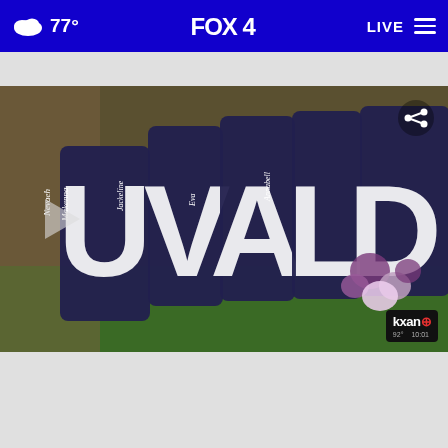77° FOX 4 LIVE
Uvalde CISD board meeting ×
[Figure (screenshot): Video thumbnail showing large UVALDE letters with names of victims written on the dark letter panels, surrounded by flowers, with KXAN news logo watermark in the lower right. A translucent play button is visible on the left side.]
Your email
Save Up to $100 on Brakes & Rotors at Virginia Tire & Auto